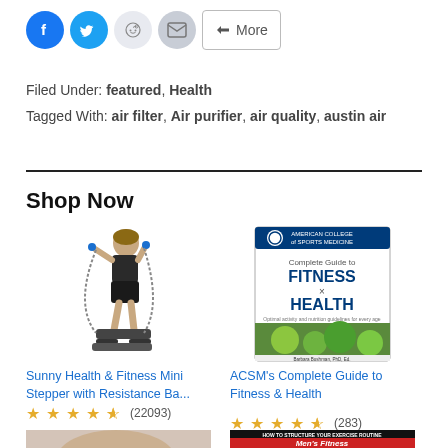[Figure (other): Social share buttons row: Facebook (blue circle), Twitter (blue circle), Reddit (light grey circle), Email (grey circle), More button]
Filed Under: featured, Health
Tagged With: air filter, Air purifier, air quality, austin air
Shop Now
[Figure (photo): Woman using a mini stepper exercise machine]
Sunny Health & Fitness Mini Stepper with Resistance Ba...
★★★★½ (22093)
[Figure (photo): Book cover: ACSM's Complete Guide to Fitness & Health]
ACSM's Complete Guide to Fitness & Health
★★★★½ (283)
[Figure (photo): Partial product image bottom left]
[Figure (photo): Partial product image bottom right - Men's Fitness book]